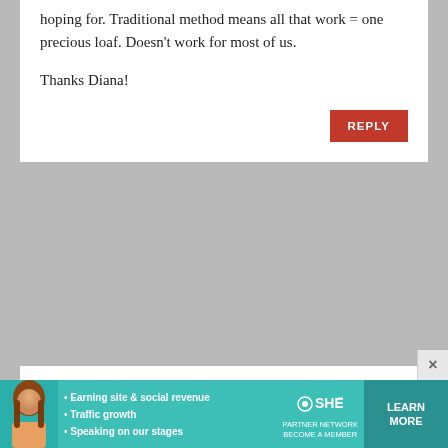hoping for. Traditional method means all that work = one precious loaf. Doesn't work for most of us.
Thanks Diana!
REPLY
REBECCA
June 15, 2009 at 4:52 pm
In looking for this post a second time, I'd come to wish it was tagged "rolls" or something similar. Thanksgiving buns just didn't come to mind 🙂 Just a helpful (hopefully) suggestion. PS. the first time they were a HUGE Hit!
[Figure (other): Advertisement banner for SHE Partner Network with photo of woman, bullet points about earning site & social revenue, traffic growth, speaking on stages, SHE logo, and Learn More button]